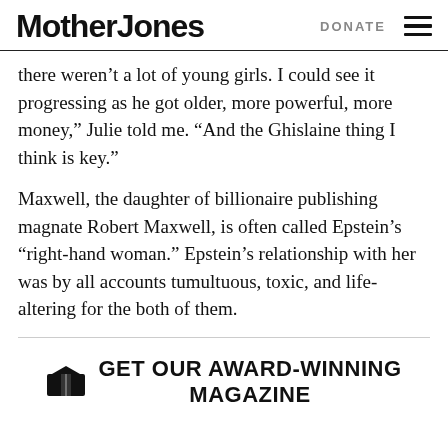Mother Jones   DONATE
there weren’t a lot of young girls. I could see it progressing as he got older, more powerful, more money,” Julie told me. “And the Ghislaine thing I think is key.”
Maxwell, the daughter of billionaire publishing magnate Robert Maxwell, is often called Epstein’s “right-hand woman.” Epstein’s relationship with her was by all accounts tumultuous, toxic, and life-altering for the both of them.
GET OUR AWARD-WINNING MAGAZINE